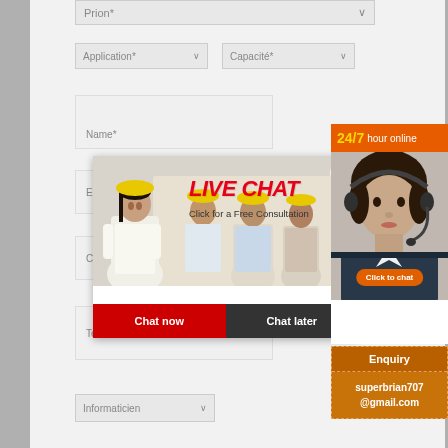[Figure (screenshot): Web form with dropdown fields: Prion* (full width), Application* and Capacité* (two columns), Name* text input, E-m... (email) text input, Country text input, Tel text input, Informaticien dropdown]
[Figure (screenshot): Live chat popup overlay with workers photo background, red italic LIVE CHAT text, 'Click for a Free Consultation' text, close button, Chat now (red) and Chat later (dark) buttons]
[Figure (screenshot): 24/7 hour online orange header panel with customer service agent photo and orange Click to chat button]
[Figure (screenshot): Enquiry panel in orange with dashed border showing email: superbrian707@gmail.com]